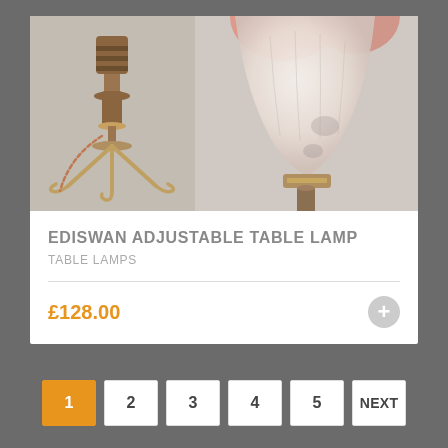[Figure (photo): Two-panel product photo: left panel shows a brass adjustable table lamp base with tripod feet and twisted cord; right panel shows a close-up of the frosted glass tulip shade with pink tinting.]
EDISWAN ADJUSTABLE TABLE LAMP
TABLE LAMPS
£128.00
1 2 3 4 5 NEXT